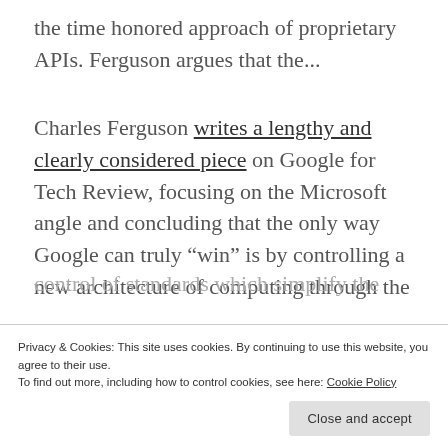the time honored approach of proprietary APIs. Ferguson argues that the...
Charles Ferguson writes a lengthy and clearly considered piece on Google for Tech Review, focusing on the Microsoft angle and concluding that the only way Google can truly “win” is by controlling a new architecture of computing through the
Privacy & Cookies: This site uses cookies. By continuing to use this website, you agree to their use.
To find out more, including how to control cookies, see here: Cookie Policy
control of standards which simplify the